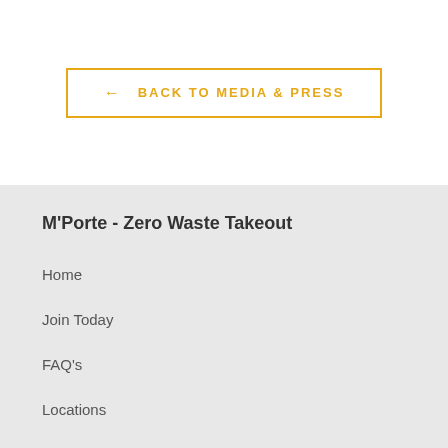← BACK TO MEDIA & PRESS
M'Porte - Zero Waste Takeout
Home
Join Today
FAQ's
Locations
Media & Press